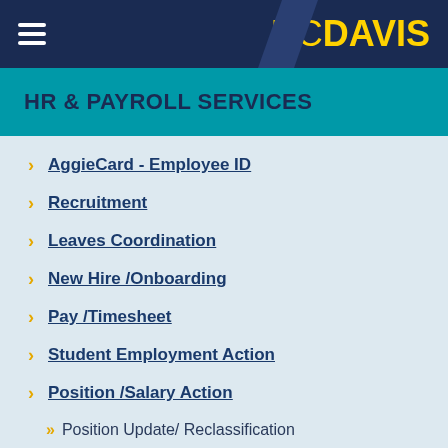UC DAVIS
HR & PAYROLL SERVICES
AggieCard - Employee ID
Recruitment
Leaves Coordination
New Hire /Onboarding
Pay /Timesheet
Student Employment Action
Position /Salary Action
Position Update/ Reclassification